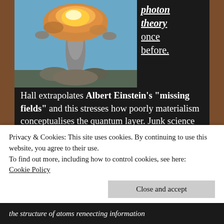[Figure (photo): Nuclear explosion mushroom cloud photograph]
photon theory once before. Hall extrapolates Albert Einstein's "missing fields" and this stresses how poorly materialism conceptualises the quantum layer. Junk science may attempt to satirically ridicule DNA, but the real farce is DNA can only be found in black light, whose mechanics draw out relative gibberish from traditional physicists. If only they had studied at Atlantis and learnt of the significance of the Tamarian. Nuclear tyrant
Privacy & Cookies: This site uses cookies. By continuing to use this website, you agree to their use.
To find out more, including how to control cookies, see here: Cookie Policy
Close and accept
the structure of atoms reneecting information